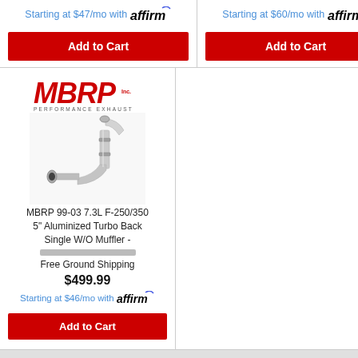Starting at $47/mo with affirm
Add to Cart
Starting at $60/mo with affirm
Add to Cart
[Figure (photo): MBRP Performance Exhaust logo and product image of a 5-inch aluminized turbo back single exhaust pipe, shown on white background]
MBRP 99-03 7.3L F-250/350 5" Aluminized Turbo Back Single W/O Muffler -
Free Ground Shipping
$499.99
Starting at $46/mo with affirm
Add to Cart
Items 1-23 of 23